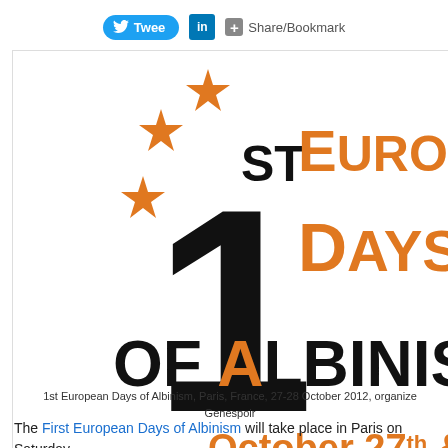Tweet | LinkedIn | Share/Bookmark
[Figure (infographic): 1st European Days of Albinism banner with large '1ST EUROPEAN DAYS OF ALBINISM' text, orange stars, orange eye logo with 'Enter' text, and date/location: October 27th & 28th 2012, Paris, FRANCE]
1st European Days of Albinism, Paris, France, 27-28 October 2012, organized by Genespoir
The First European Days of Albinism will take place in Paris on Saturday and Sunday 28th October 2012, organized by Genespoir the French Asso...